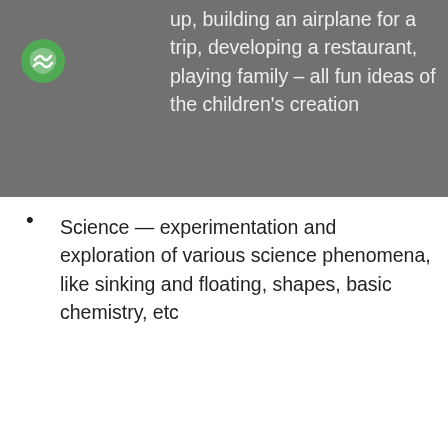up, building an airplane for a trip, developing a restaurant, playing family – all fun ideas of the children's creation
Science — experimentation and exploration of various science phenomena, like sinking and floating, shapes, basic chemistry, etc
Nature-based activities — observing and exploring nearby outdoor habitats; collecting, sorting and using natural materials; engaging in nature related art activities; and reading and discussing nature related books
This class can be a great addition for some children going on to kindergarten next year.  In order to enroll, you must sign up for this enrichment during the registration process in late winter.  Due to continuity of the class, you must sign up for both days for the whole year. The